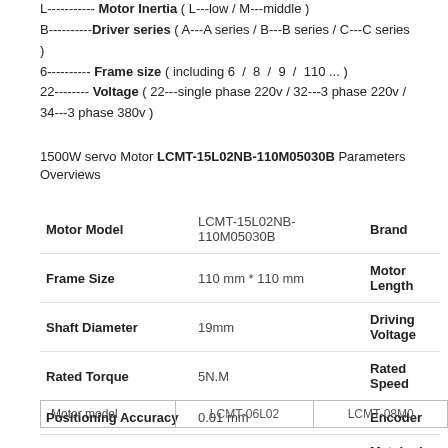L----------- Motor Inertia ( L---low / M---middle )
B----------Driver series ( A---A series / B---B series / C---C series )
6---------- Frame size ( including 6 / 8 / 9 / 110 ... )
22-------- Voltage ( 22---single phase 220v / 32---3 phase 220v / 34---3 phase 380v )
1500W servo Motor LCMT-15L02NB-110M05030B Parameters Overviews
| Motor Model | LCMT-15L02NB-110M05030B | Brand |
| --- | --- | --- |
| Frame Size | 110 mm * 110 mm | Motor Length |
| Shaft Diameter | 19mm | Driving Voltage |
| Rated Torque | 5N.M | Rated Speed |
| Positioning Accuracy | 0.01 mm | Encoder |
| Weight | 6.1kg | Matched Driver |
| Motor model | LCMT-06L02 | LCMT-08M0 |
| --- | --- | --- |